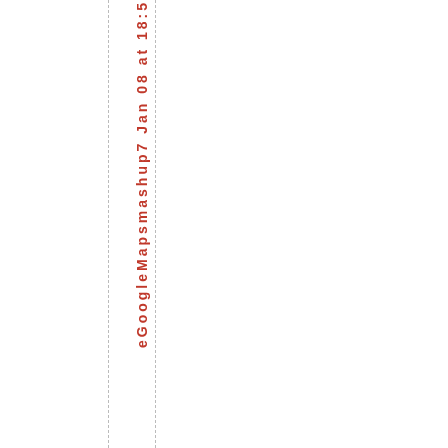eGoogleMapsmashup7 Jan 08 at 18:5